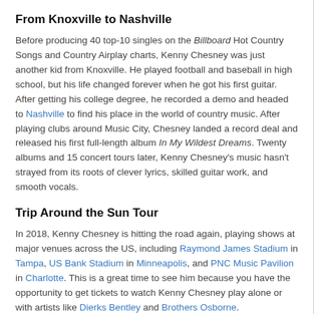From Knoxville to Nashville
Before producing 40 top-10 singles on the Billboard Hot Country Songs and Country Airplay charts, Kenny Chesney was just another kid from Knoxville. He played football and baseball in high school, but his life changed forever when he got his first guitar. After getting his college degree, he recorded a demo and headed to Nashville to find his place in the world of country music. After playing clubs around Music City, Chesney landed a record deal and released his first full-length album In My Wildest Dreams. Twenty albums and 15 concert tours later, Kenny Chesney's music hasn't strayed from its roots of clever lyrics, skilled guitar work, and smooth vocals.
Trip Around the Sun Tour
In 2018, Kenny Chesney is hitting the road again, playing shows at major venues across the US, including Raymond James Stadium in Tampa, US Bank Stadium in Minneapolis, and PNC Music Pavilion in Charlotte. This is a great time to see him because you have the opportunity to get tickets to watch Kenny Chesney play alone or with artists like Dierks Bentley and Brothers Osborne.
Back to top